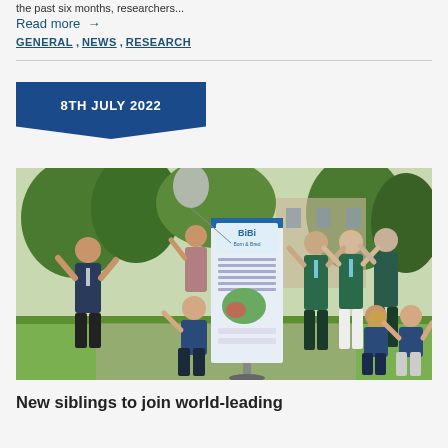the past six months, researchers...
Read more →
GENERAL,  NEWS,  RESEARCH
8TH JULY 2022
[Figure (photo): Group of around ten people waving and smiling outdoors, standing around a BiBi (Born & Bred) research study banner/roll-up display. Trees and brick building visible in background.]
New siblings to join world-leading